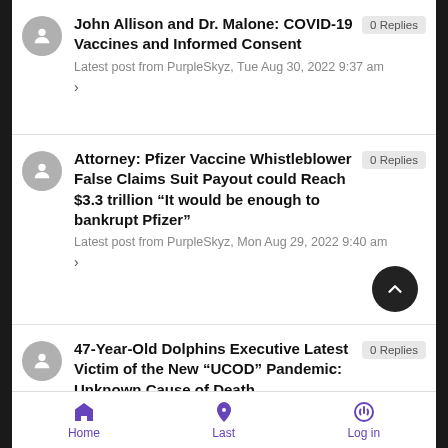John Allison and Dr. Malone: COVID-19 Vaccines and Informed Consent
Latest post from PurpleSkyz, Tue Aug 30, 2022 9:37 am
0 Replies
Attorney: Pfizer Vaccine Whistleblower False Claims Suit Payout could Reach $3.3 trillion "It would be enough to bankrupt Pfizer"
Latest post from PurpleSkyz, Mon Aug 29, 2022 9:40 am
0 Replies
47-Year-Old Dolphins Executive Latest Victim of the New "UCOD" Pandemic: Unknown Cause of Death
Latest post from PurpleSkyz, Mon Aug 29, 2022 9:37 am
0 Replies
Home | Last | Log in